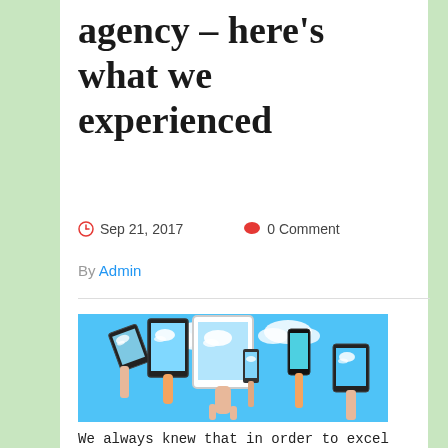agency – here's what we experienced
Sep 21, 2017   0 Comment
By Admin
[Figure (photo): People holding up various mobile devices (tablets, smartphones, laptops) against a blue sky, all showing cloud images on their screens.]
We always knew that in order to excel at what we do and to grow, we needed to